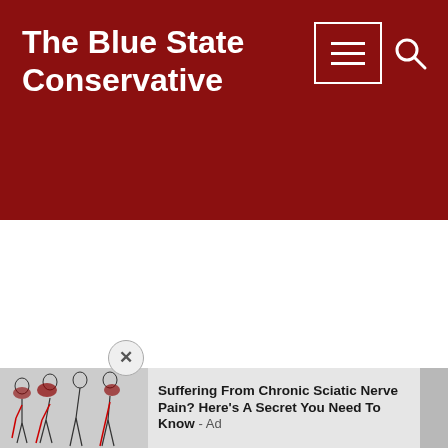The Blue State Conservative
[Figure (screenshot): Advertisement banner showing sciatic nerve pain illustration with figures and text: Suffering From Chronic Sciatic Nerve Pain? Here's A Secret You Need To Know - Ad]